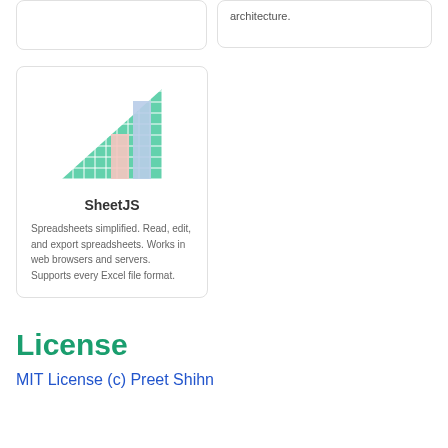architecture.
[Figure (logo): SheetJS logo: a green right-triangle grid with bar chart bars (light pink and light blue) overlapping, representing spreadsheet data visualization]
SheetJS
Spreadsheets simplified. Read, edit, and export spreadsheets. Works in web browsers and servers. Supports every Excel file format.
License
MIT License (c) Preet Shihn